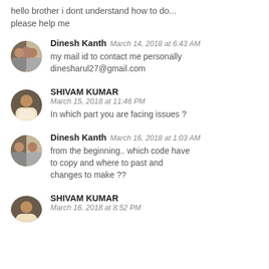hello brother i dont understand how to do... please help me
Dinesh Kanth  March 14, 2018 at 6:43 AM
my mail id to contact me personally dinesharul27@gmail.com
SHIVAM KUMAR  March 15, 2018 at 11:46 PM
In which part you are facing issues ?
Dinesh Kanth  March 16, 2018 at 1:03 AM
from the beginning.. which code have to copy and where to past and changes to make ??
SHIVAM KUMAR  March 16, 2018 at 8:52 PM